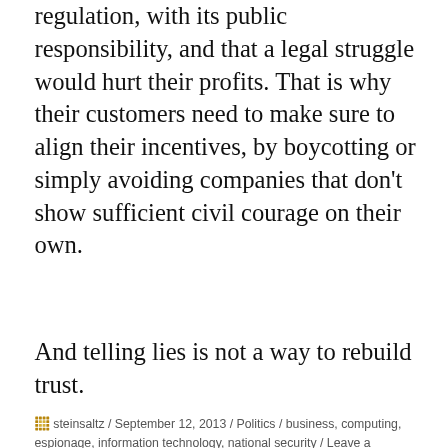regulation, with its public responsibility, and that a legal struggle would hurt their profits. That is why their customers need to make sure to align their incentives, by boycotting or simply avoiding companies that don't show sufficient civil courage on their own.
And telling lies is not a way to rebuild trust.
steinsaltz / September 12, 2013 / Politics / business, computing, espionage, information technology, national security / Leave a comment
PAGES
The author